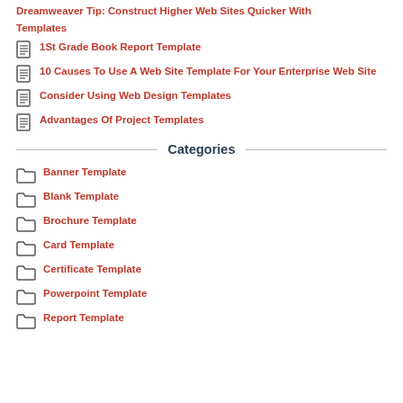Dreamweaver Tip: Construct Higher Web Sites Quicker With Templates
1St Grade Book Report Template
10 Causes To Use A Web Site Template For Your Enterprise Web Site
Consider Using Web Design Templates
Advantages Of Project Templates
Categories
Banner Template
Blank Template
Brochure Template
Card Template
Certificate Template
Powerpoint Template
Report Template